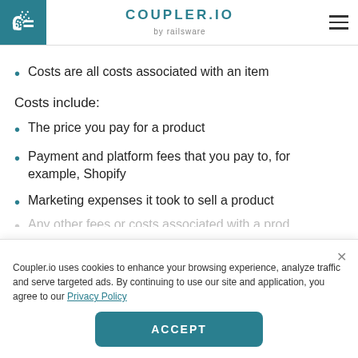COUPLER.IO by railsware
Costs are all costs associated with an item
Costs include:
The price you pay for a product
Payment and platform fees that you pay to, for example, Shopify
Marketing expenses it took to sell a product
Coupler.io uses cookies to enhance your browsing experience, analyze traffic and serve targeted ads. By continuing to use our site and application, you agree to our Privacy Policy
ACCEPT